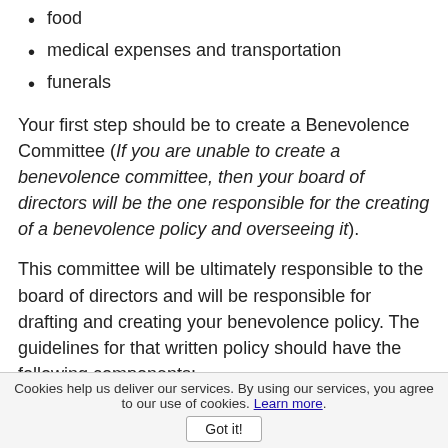food
medical expenses and transportation
funerals
Your first step should be to create a Benevolence Committee (If you are unable to create a benevolence committee, then your board of directors will be the one responsible for the creating of a benevolence policy and overseeing it).
This committee will be ultimately responsible to the board of directors and will be responsible for drafting and creating your benevolence policy. The guidelines for that written policy should have the following components:
Cookies help us deliver our services. By using our services, you agree to our use of cookies. Learn more. Got it!